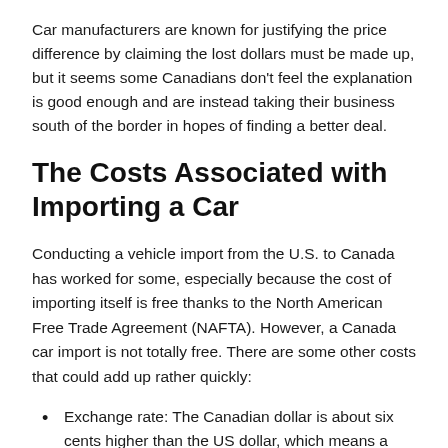Car manufacturers are known for justifying the price difference by claiming the lost dollars must be made up, but it seems some Canadians don't feel the explanation is good enough and are instead taking their business south of the border in hopes of finding a better deal.
The Costs Associated with Importing a Car
Conducting a vehicle import from the U.S. to Canada has worked for some, especially because the cost of importing itself is free thanks to the North American Free Trade Agreement (NAFTA). However, a Canada car import is not totally free. There are some other costs that could add up rather quickly:
Exchange rate: The Canadian dollar is about six cents higher than the US dollar, which means a $20,000 USD